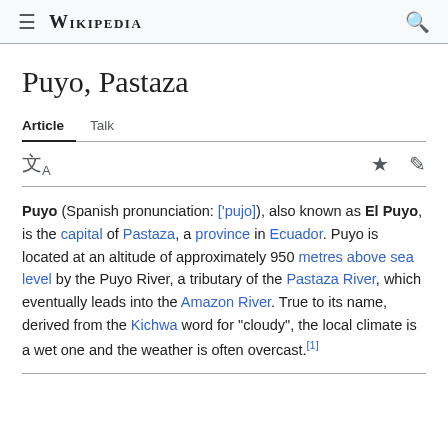≡  WIKIPEDIA  🔍
Puyo, Pastaza
Article   Talk
Puyo (Spanish pronunciation: ['pujo]), also known as El Puyo, is the capital of Pastaza, a province in Ecuador. Puyo is located at an altitude of approximately 950 metres above sea level by the Puyo River, a tributary of the Pastaza River, which eventually leads into the Amazon River. True to its name, derived from the Kichwa word for "cloudy", the local climate is a wet one and the weather is often overcast.[1]